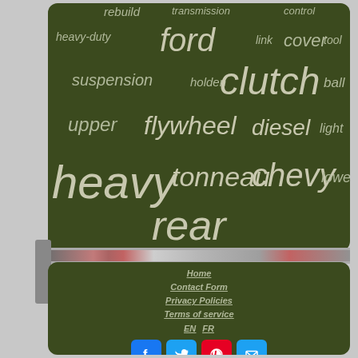[Figure (infographic): Word cloud on dark olive green background with automotive/mechanical terms in varying sizes: rebuild, transmission, control, heavy-duty, ford, link, cover, tool, suspension, holden, clutch, ball, upper, flywheel, diesel, light, heavy, tonneau, chevy, lower, rear]
[Figure (infographic): Navigation footer links: Home, Contact Form, Privacy Policies, Terms of service, EN/FR language toggle, and social media icons for Facebook, Twitter, Pinterest, and Email on dark olive green background]